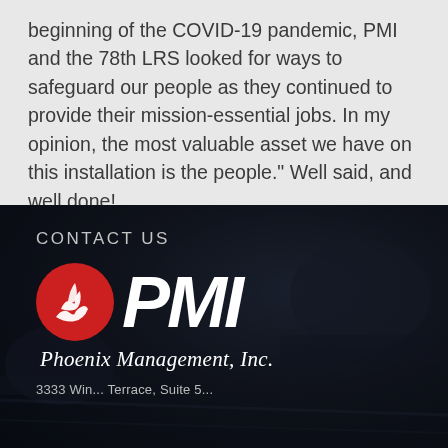beginning of the COVID-19 pandemic, PMI and the 78th LRS looked for ways to safeguard our people as they continued to provide their mission-essential jobs. In my opinion, the most valuable asset we have on this installation is the people." Well said, and well done!
CONTACT US
[Figure (logo): PMI (Phoenix Management, Inc.) logo — red circle with white stylized flame/wing icon on left, large bold italic white 'PMI' text on right, with 'Phoenix Management, Inc.' in italic white script below, set against a dark hangar background]
Phoenix Management, Inc.
3333 Win... Terrace, Suite 5...